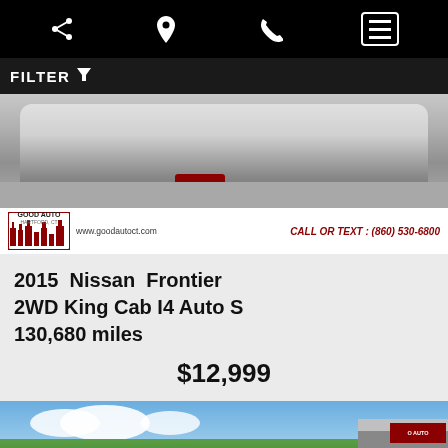Navigation bar with share, location, phone, and menu icons
FILTER
[Figure (photo): 2015 Nissan Frontier 2WD King Cab I4 Auto S vehicle photo with Good Auto Hartford CT dealership logo overlay and text: www.goodautoct.com CALL OR TEXT: (860) 530-6800]
2015 Nissan Frontier
2WD King Cab I4 Auto S
130,680 miles
$12,999
[Figure (photo): Second car listing photo showing a vehicle at Good Auto dealership lot with sky and trees in background. Overlay buttons: Text Us! and Chat with Us!. Accessibility icon bottom left. Scroll up button bottom right.]